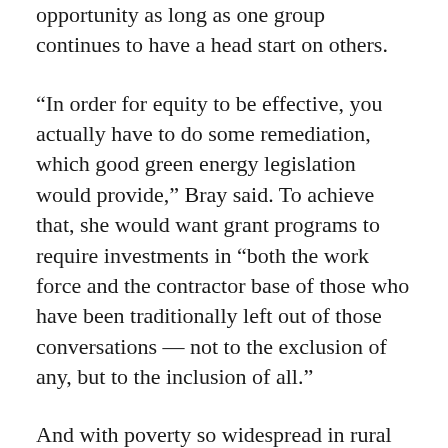opportunity as long as one group continues to have a head start on others.
“In order for equity to be effective, you actually have to do some remediation, which good green energy legislation would provide,” Bray said. To achieve that, she would want grant programs to require investments in “both the work force and the contractor base of those who have been traditionally left out of those conversations — not to the exclusion of any, but to the inclusion of all.”
And with poverty so widespread in rural Ohio and elsewhere in Appalachia, government involvement and aid are definitely needed, along with accountability measures built into grants to make